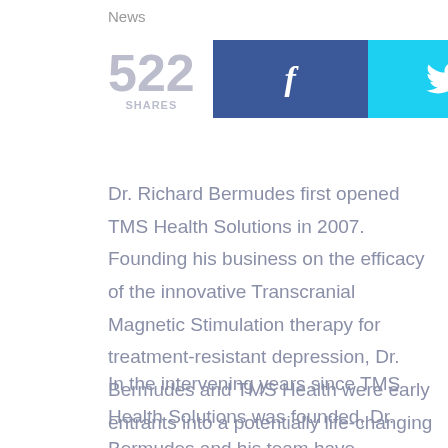News
[Figure (other): Social share count showing 522 SHARES, with Facebook (blue) and Twitter (cyan) share buttons]
Dr. Richard Bermudes first opened TMS Health Solutions in 2007. Founding his business on the efficacy of the innovative Transcranial Magnetic Stimulation therapy for treatment-resistant depression, Dr. Bermudes and TMS Health were early entrants into a potentially life-changing therapeutic modality.
In the intervening years since TMS Health Solutions was founded, Dr. Bermudes and his team have expanded to reach clients throughout the state of California with hopes to expand into the rest of the nation.